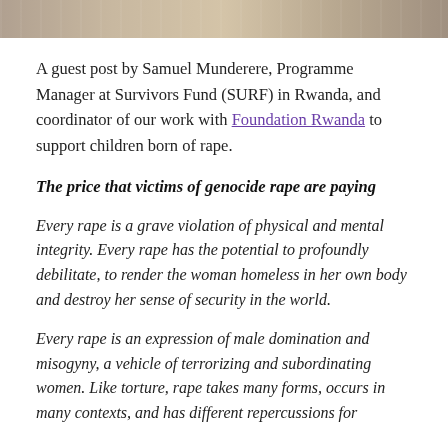[Figure (photo): Partial view of a photograph at the top of the page, showing colored clothing or fabric]
A guest post by Samuel Munderere, Programme Manager at Survivors Fund (SURF) in Rwanda, and coordinator of our work with Foundation Rwanda to support children born of rape.
The price that victims of genocide rape are paying
Every rape is a grave violation of physical and mental integrity. Every rape has the potential to profoundly debilitate, to render the woman homeless in her own body and destroy her sense of security in the world.
Every rape is an expression of male domination and misogyny, a vehicle of terrorizing and subordinating women. Like torture, rape takes many forms, occurs in many contexts, and has different repercussions for